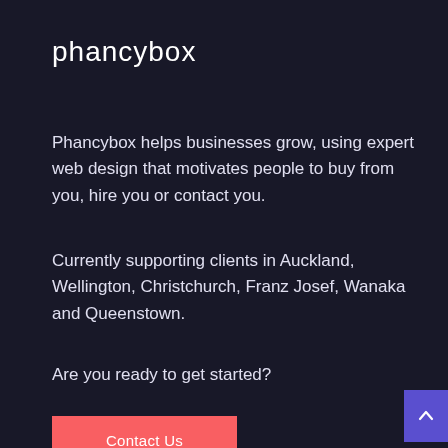phancybox
Phancybox helps businesses grow, using expert web design that motivates people to buy from you, hire you or contact you.
Currently supporting clients in Auckland, Wellington, Christchurch, Franz Josef, Wanaka and Queenstown.
Are you ready to get started?
Contact Us
Services